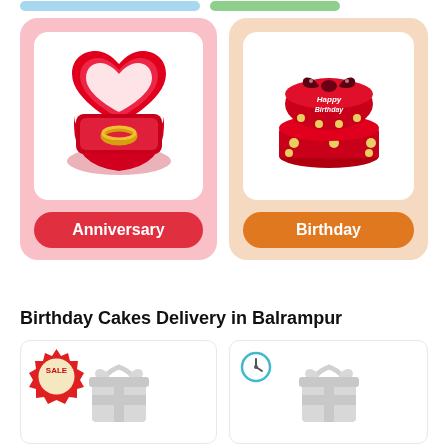[Figure (illustration): Partial top navigation bar with blue and green pill-shaped elements]
[Figure (illustration): Anniversary category card with pink background showing a red heart-shaped ring box with gold ring inside, and a red rounded label reading 'Anniversary']
[Figure (illustration): Birthday category card with peach/light orange background showing a red birthday cake with polka dots and bow, and an orange rounded label reading 'Birthday']
Birthday Cakes Delivery in Balrampur
[Figure (illustration): Product card with white background, SALE badge in red at top-left, and a grey gift box placeholder image]
[Figure (illustration): Product card with white background, clock icon at top-left, and a grey gift box placeholder image]